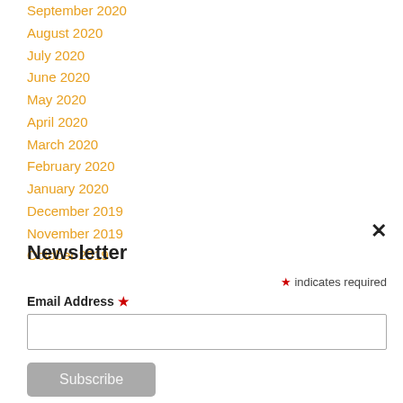September 2020
August 2020
July 2020
June 2020
May 2020
April 2020
March 2020
February 2020
January 2020
December 2019
November 2019
October 2019
Newsletter
* indicates required
Email Address *
Subscribe